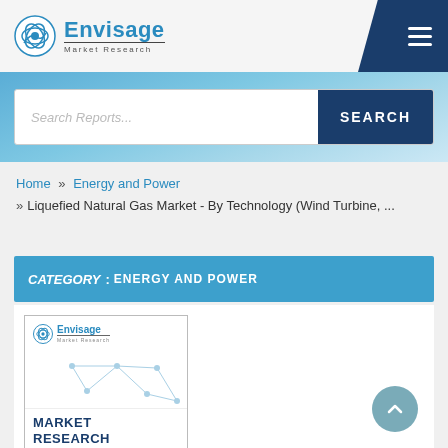Envisage Market Research
Search Reports...
SEARCH
Home » Energy and Power » Liquefied Natural Gas Market - By Technology (Wind Turbine, ...
CATEGORY : ENERGY AND POWER
[Figure (screenshot): Envisage Market Research report thumbnail showing logo and MARKET RESEARCH text with network diagram background]